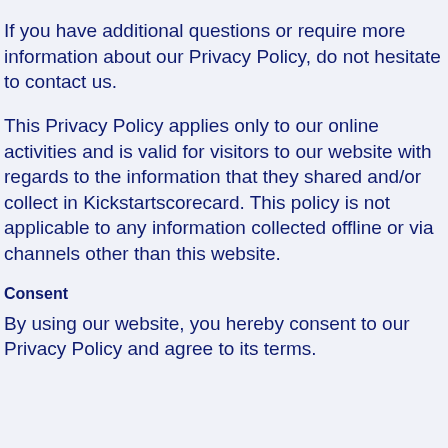If you have additional questions or require more information about our Privacy Policy, do not hesitate to contact us.
This Privacy Policy applies only to our online activities and is valid for visitors to our website with regards to the information that they shared and/or collect in Kickstartscorecard. This policy is not applicable to any information collected offline or via channels other than this website.
Consent
By using our website, you hereby consent to our Privacy Policy and agree to its terms.